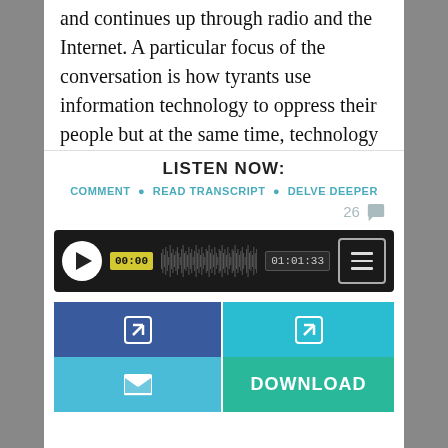and continues up through radio and the Internet. A particular focus of the conversation is how tyrants use information technology to oppress their people but at the same time, technology can be used to liberate people from oppression.
LISTEN NOW:
COMMENT • READ TRANSCRIPT • DELVE DEEPER
26 💬
[Figure (screenshot): Audio player widget with dark background, play button, timestamp 00:00, waveform visualization, end time 01:01:33, and menu button.]
[Figure (infographic): Four social/action buttons: top-left blue share icon, top-right teal share icon, bottom-left teal envelope/email icon, bottom-right green DOWNLOAD button.]